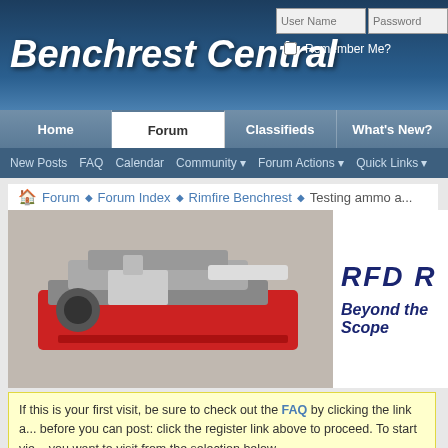Benchrest Central
[Figure (screenshot): Website header with login fields for User Name and Password, Remember Me checkbox]
[Figure (screenshot): Navigation bar with Home, Forum (active), Classifieds, What's New? tabs]
[Figure (screenshot): Sub-navigation with New Posts, FAQ, Calendar, Community, Forum Actions, Quick Links]
[Figure (photo): Banner ad showing benchrest rifle on red rest on left, RFD logo and 'Beyond the Scope' text on right]
If this is your first visit, be sure to check out the FAQ by clicking the link a... before you can post: click the register link above to proceed. To start vie... you want to visit from the selection below.
Thread: Testing ammo at test centers.
Thread Tools  Search Th...
Threaded View
tonykharper Testing ammo at test centers. 01-16-2022, 12:54